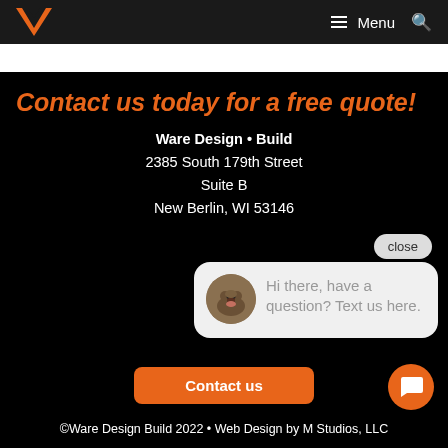Ware Design Build — Navigation bar with logo and menu
Contact us today for a free quote!
Ware Design • Build
2385 South 179th Street
Suite B
New Berlin, WI 53146
[Figure (screenshot): Chat popup with dog avatar saying: Hi there, have a question? Text us here. With a close button and orange chat bubble button.]
Contact us
©Ware Design Build 2022 • Web Design by M Studios, LLC